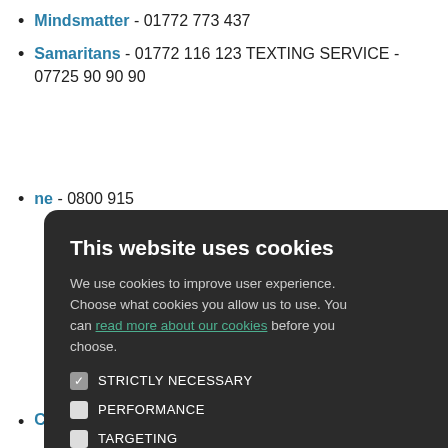Mindsmatter - 01772 773 437
Samaritans - 01772 116 123 TEXTING SERVICE - 07725 90 90 90
[partial] ne - 0800 915
[partial] 0909
[partial] olunteering, rts & culture, equality &
[partial] -3am daily
Compassionate Friends - 0345 123 2304
This website uses cookies modal: We use cookies to improve user experience. Choose what cookies you allow us to use. You can read more about our cookies before you choose. STRICTLY NECESSARY (checked), PERFORMANCE, TARGETING, FUNCTIONALITY. ACCEPT ALL | DECLINE ALL